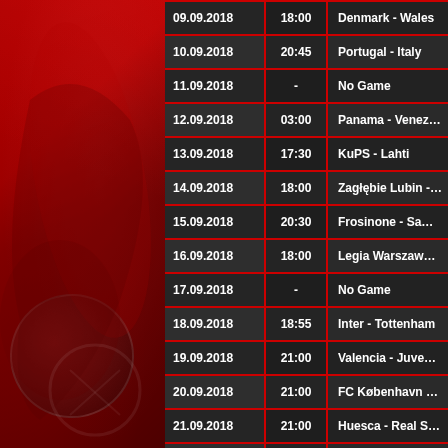[Figure (photo): Background image of a rugby/sports athlete in red tones on the left side panel]
| Date | Time | Match |
| --- | --- | --- |
| 09.09.2018 | 18:00 | Denmark - Wales |
| 10.09.2018 | 20:45 | Portugal - Italy |
| 11.09.2018 | - | No Game |
| 12.09.2018 | 03:00 | Panama - Venezuela |
| 13.09.2018 | 17:30 | KuPS - Lahti |
| 14.09.2018 | 18:00 | Zagłębie Lubin - Śląsk Wrocław |
| 15.09.2018 | 20:30 | Frosinone - Sampdoria |
| 16.09.2018 | 18:00 | Legia Warszawa - Lech Poznań |
| 17.09.2018 | - | No Game |
| 18.09.2018 | 18:55 | Inter - Tottenham |
| 19.09.2018 | 21:00 | Valencia - Juventus |
| 20.09.2018 | 21:00 | FC København Zenit St. Petersburg |
| 21.09.2018 | 21:00 | Huesca - Real Sociedad |
| 22.09.2018 | 20:30 | Miedź Legnica - Legia Warszawa |
| 23.09.2018 | 16:00 | FH Hafnarfjörður - Valur Reykjavík |
| 24.09.2018 | - | No Game |